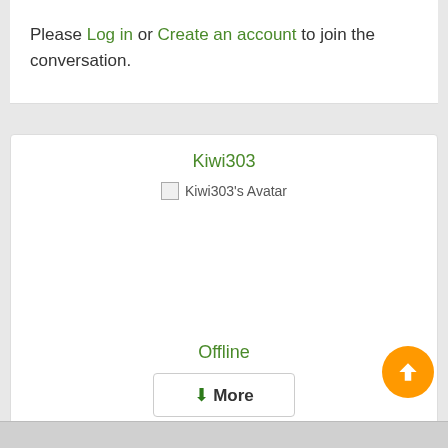Please Log in or Create an account to join the conversation.
Kiwi303
[Figure (photo): Kiwi303's Avatar placeholder image]
Offline
↓More
12 years 9 months ago #304101 by Kiwi303